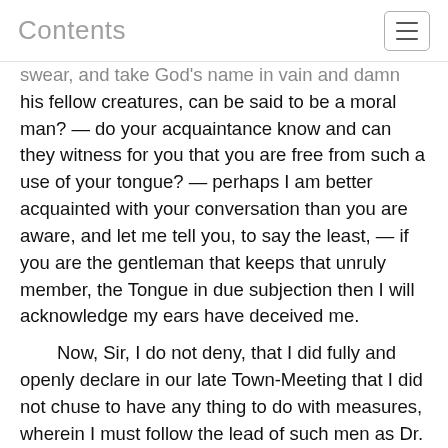Contents
swear, and take God's name in vain and damn his fellow creatures, can be said to be a moral man? — do your acquaintance know and can they witness for you that you are free from such a use of your tongue? — perhaps I am better acquainted with your conversation than you are aware, and let me tell you, to say the least, — if you are the gentleman that keeps that unruly member, the Tongue in due subjection then I will acknowledge my ears have deceived me.
Now, Sir, I do not deny, that I did fully and openly declare in our late Town-Meeting that I did not chuse to have any thing to do with measures, wherein I must follow the lead of such men as Dr. Young, or in words of like import, — and I believe I might further say that if I had any thing of my own private